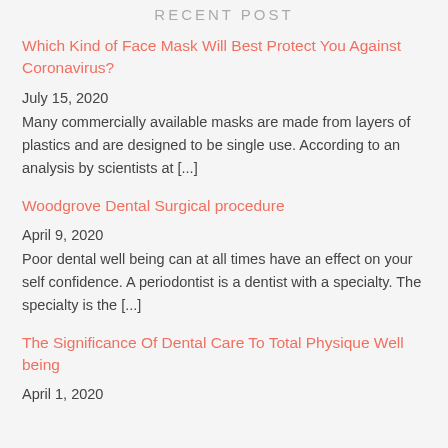RECENT POST
Which Kind of Face Mask Will Best Protect You Against Coronavirus?
July 15, 2020
Many commercially available masks are made from layers of plastics and are designed to be single use. According to an analysis by scientists at [...]
Woodgrove Dental Surgical procedure
April 9, 2020
Poor dental well being can at all times have an effect on your self confidence. A periodontist is a dentist with a specialty. The specialty is the [...]
The Significance Of Dental Care To Total Physique Well being
April 1, 2020